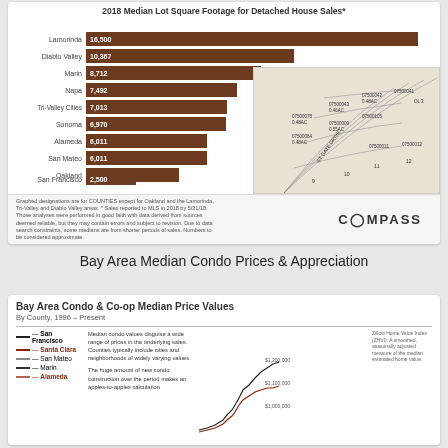2018 Median Lot Square Footage for Detached House Sales*
[Figure (bar-chart): 2018 Median Lot Square Footage for Detached House Sales*]
[Figure (map): Land parcel map showing lot subdivisions with parcel numbers and acreage (0.48AC etc.) along ST GATE DRIVE]
Graphed designations are for COUNTIES except for Oakland and the Lamorinda, Tri-Valley and Diablo Valley areas. * Sales reported to MLS in 2018 by 5/21/18. Those analyses were performed in good faith with data derived from sources deemed reliable, but they may contain errors and subject to revision. Due to data search constraints, some medians are from shorter periods of sales. Numbers to be considered approximate.
Bay Area Median Condo Prices & Appreciation
Bay Area Condo & Co-op Median Price Values
By County, 1996 – Present
Zillow Home Value Index (ZHVI): A smoothed, seasonally adjusted measure of the median estimated home value.
Median condo values disguise a wide range of prices in the underlying sales. Counties typically include cities and neighborhoods of widely varying values.
The huge amount of new condo construction over the period makes an apples-to-apples calculation
San Francisco
Santa Clara
San Mateo
Marin
Alameda
[Figure (line-chart): Bay Area Condo & Co-op Median Price Values line chart by county 1996-Present showing values up to $1,200,000]